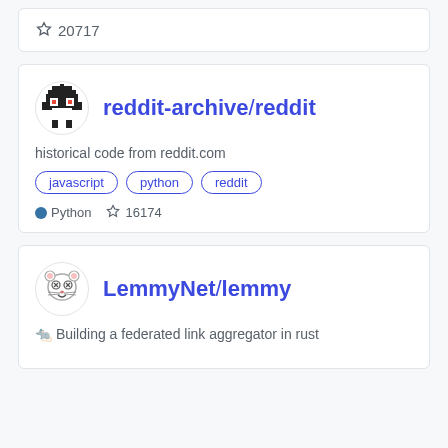⭐ 20717
reddit-archive/reddit
historical code from reddit.com
javascript
python
reddit
● Python  ⭐ 16174
LemmyNet/lemmy
🐀 Building a federated link aggregator in rust